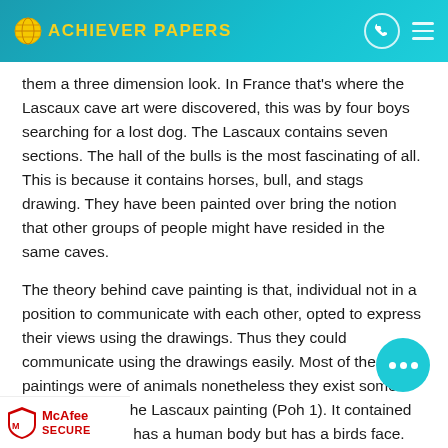ACHIEVER PAPERS
them a three dimension look. In France that's where the Lascaux cave art were discovered, this was by four boys searching for a lost dog. The Lascaux contains seven sections. The hall of the bulls is the most fascinating of all. This is because it contains horses, bull, and stags drawing. They have been painted over bring the notion that other groups of people might have resided in the same caves.
The theory behind cave painting is that, individual not in a position to communicate with each other, opted to express their views using the drawings. Thus they could communicate using the drawings easily. Most of the paintings were of animals nonetheless they exist some exemption like the Lascaux painting (Poh 1). It contained dead man paint has a human body but has a birds face. There e nation as to why human paintings were few. They